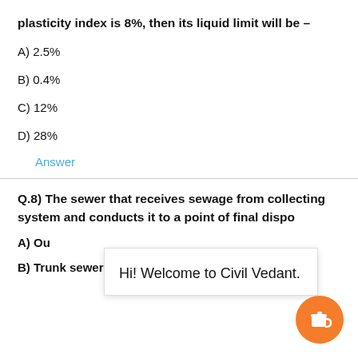plasticity index is 8%, then its liquid limit will be –
A) 2.5%
B) 0.4%
C) 12%
D) 28%
Answer
Q.8) The sewer that receives sewage from collecting system and conducts it to a point of final dispo
A) Ou
B) Trunk sewer
Hi! Welcome to Civil Vedant.